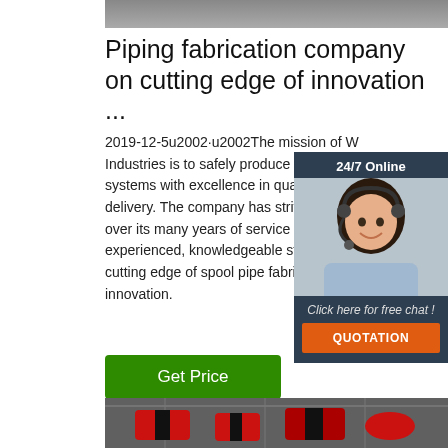[Figure (photo): Top edge of a photo showing an industrial/piping scene]
Piping fabrication company on cutting edge of innovation ...
2019-12-5u2002·u2002The mission of W Industries is to safely produce fabricated systems with excellence in quality and delivery. The company has strived to accomplish this over its many years of service by assembling an experienced, knowledgeable staff and staying at the cutting edge of spool pipe fabrication innovation.
[Figure (photo): 24/7 Online chat widget with a customer service representative wearing a headset]
[Figure (photo): Bottom photo showing an industrial facility with red and black pipe spools]